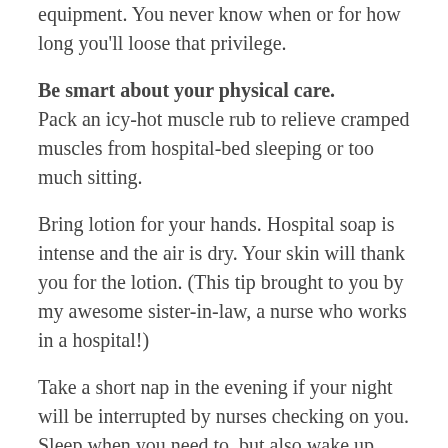equipment. You never know when or for how long you'll loose that privilege.
Be smart about your physical care. Pack an icy-hot muscle rub to relieve cramped muscles from hospital-bed sleeping or too much sitting.
Bring lotion for your hands. Hospital soap is intense and the air is dry. Your skin will thank you for the lotion. (This tip brought to you by my awesome sister-in-law, a nurse who works in a hospital!)
Take a short nap in the evening if your night will be interrupted by nurses checking on you. Sleep when you need to, but also wake up when you're ready. Tossing and turning in